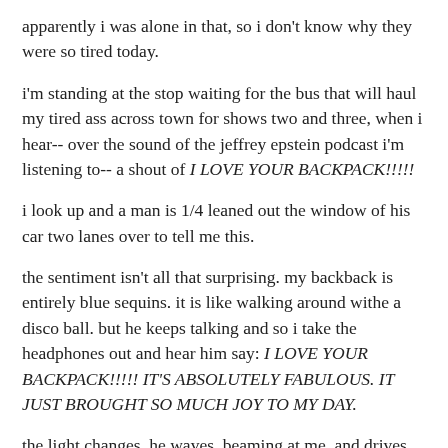apparently i was alone in that, so i don't know why they were so tired today.
i'm standing at the stop waiting for the bus that will haul my tired ass across town for shows two and three, when i hear-- over the sound of the jeffrey epstein podcast i'm listening to-- a shout of I LOVE YOUR BACKPACK!!!!!
i look up and a man is 1/4 leaned out the window of his car two lanes over to tell me this.
the sentiment isn't all that surprising. my backback is entirely blue sequins. it is like walking around withe a disco ball. but he keeps talking and so i take the headphones out and hear him say: I LOVE YOUR BACKPACK!!!!! IT'S ABSOLUTELY FABULOUS. IT JUST BROUGHT SO MUCH JOY TO MY DAY.
the light changes, he waves, beaming at me, and drives on. and i'm left reflecting on the fact that, despite having to remove my headphones, that was a solidly lovely interaction